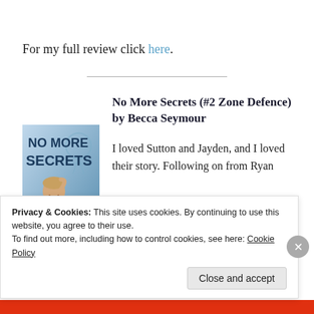For my full review click here.
[Figure (illustration): Book cover for 'No More Secrets' showing blue background with a man sitting, hand on head, smiling]
No More Secrets (#2 Zone Defence) by Becca Seymour
I loved Sutton and Jayden, and I loved their story. Following on from Ryan
Privacy & Cookies: This site uses cookies. By continuing to use this website, you agree to their use.
To find out more, including how to control cookies, see here: Cookie Policy
Close and accept